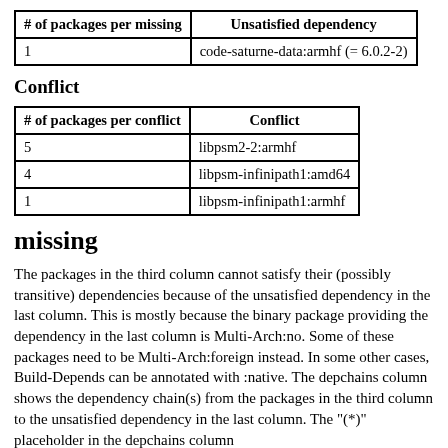| # of packages per missing | Unsatisfied dependency |
| --- | --- |
| 1 | code-saturne-data:armhf (= 6.0.2-2) |
Conflict
| # of packages per conflict | Conflict |
| --- | --- |
| 5 | libpsm2-2:armhf |
| 4 | libpsm-infinipath1:amd64 |
| 1 | libpsm-infinipath1:armhf |
missing
The packages in the third column cannot satisfy their (possibly transitive) dependencies because of the unsatisfied dependency in the last column. This is mostly because the binary package providing the dependency in the last column is Multi-Arch:no. Some of these packages need to be Multi-Arch:foreign instead. In some other cases, Build-Depends can be annotated with :native. The depchains column shows the dependency chain(s) from the packages in the third column to the unsatisfied dependency in the last column. The "(*)" placeholder in the depchains column